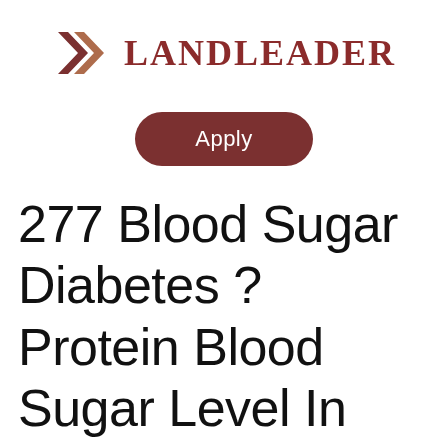[Figure (logo): LandLeader logo with double chevron arrow icon in dark red/brown and text LANDLEADER in serif bold uppercase]
Apply
277 Blood Sugar Diabetes ? Protein Blood Sugar Level In Type 1 Diabetes - Land Leader